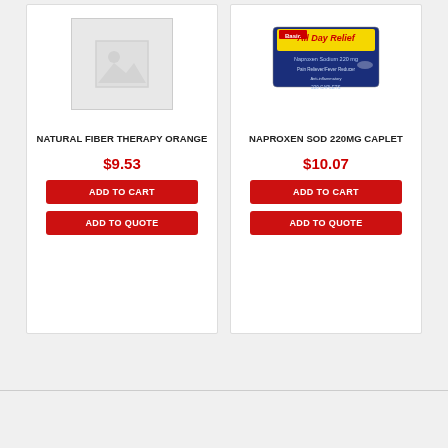[Figure (illustration): Placeholder image for Natural Fiber Therapy Orange product — grey box with image icon]
NATURAL FIBER THERAPY ORANGE
$9.53
ADD TO CART
ADD TO QUOTE
[Figure (photo): Product image of Naproxen Sod 220mg Caplet — All Day Relief box, yellow and blue packaging]
NAPROXEN SOD 220MG CAPLET
$10.07
ADD TO CART
ADD TO QUOTE